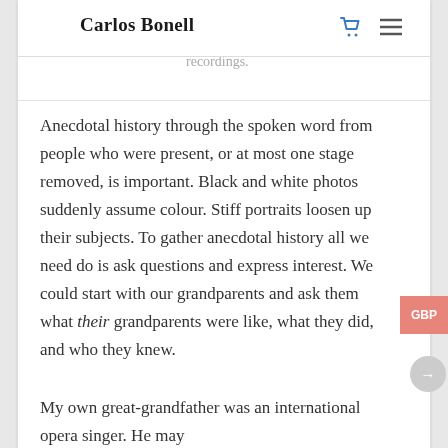Carlos Bonell
irmation of what we can dimly make out in those crackly recordings.
Anecdotal history through the spoken word from people who were present, or at most one stage removed, is important. Black and white photos suddenly assume colour. Stiff portraits loosen up their subjects. To gather anecdotal history all we need do is ask questions and express interest. We could start with our grandparents and ask them what their grandparents were like, what they did, and who they knew.
My own great-grandfather was an international opera singer. He may